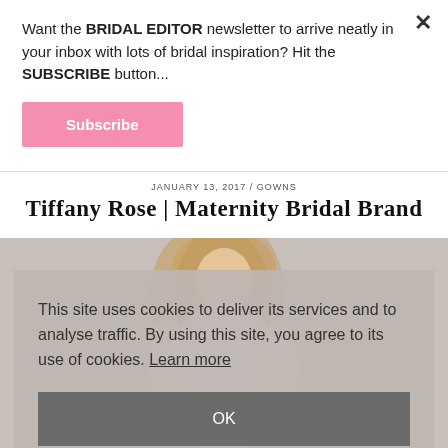Want the BRIDAL EDITOR newsletter to arrive neatly in your inbox with lots of bridal inspiration? Hit the SUBSCRIBE button...
Subscribe
JANUARY 13, 2017 / GOWNS
Tiffany Rose | Maternity Bridal Brand
[Figure (photo): Woman with long blonde hair wearing a white/grey gown, maternity bridal style photo]
This site uses cookies to deliver its services and to analyse traffic. By using this site, you agree to its use of cookies. Learn more
OK